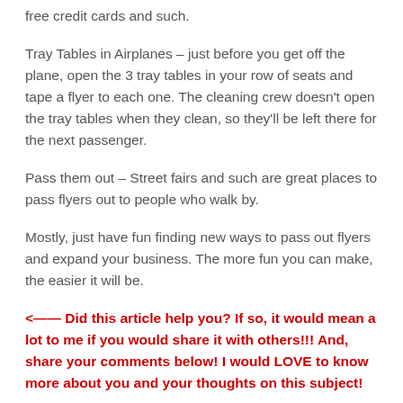free credit cards and such.
Tray Tables in Airplanes – just before you get off the plane, open the 3 tray tables in your row of seats and tape a flyer to each one.  The cleaning crew doesn't open the tray tables when they clean, so they'll be left there for the next passenger.
Pass them out – Street fairs and such are great places to pass flyers out to people who walk by.
Mostly, just have fun finding new ways to pass out flyers and expand your business.  The more fun you can make, the easier it will be.
<— Did this article help you? If so, it would mean a lot to me if you would share it with others!!! And, share your comments below!  I would LOVE to know more about you and your thoughts on this subject!